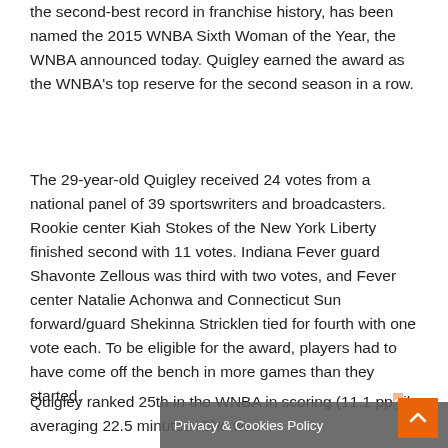the second-best record in franchise history, has been named the 2015 WNBA Sixth Woman of the Year, the WNBA announced today. Quigley earned the award as the WNBA's top reserve for the second season in a row.
The 29-year-old Quigley received 24 votes from a national panel of 39 sportswriters and broadcasters. Rookie center Kiah Stokes of the New York Liberty finished second with 11 votes. Indiana Fever guard Shavonte Zellous was third with two votes, and Fever center Natalie Achonwa and Connecticut Sun forward/guard Shekinna Stricklen tied for fourth with one vote each. To be eligible for the award, players had to have come off the bench in more games than they started.
Quigley ranked 25th in the WNBA in scoring (11.1 pp[g] while averaging 22.5 minutes [per game]. She was